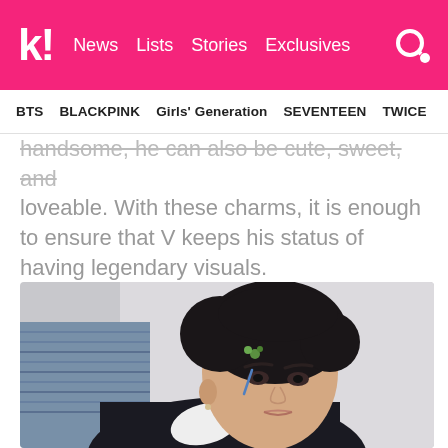k! News  Lists  Stories  Exclusives
BTS  BLACKPINK  Girls' Generation  SEVENTEEN  TWICE
handsome, he can also be cute, sweet, and loveable. With these charms, it is enough to ensure that V keeps his status of having legendary visuals.
[Figure (photo): BTS V (Kim Taehyung) lying down, wearing a black outfit, with dark hair swept to the side and a small floral accessory near his face. Light grey background.]